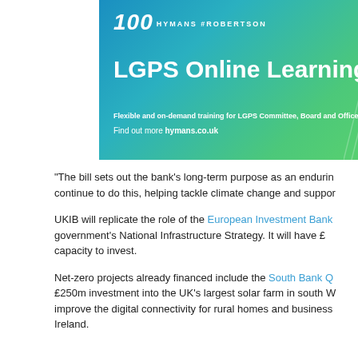[Figure (other): Hymans Robertson LGPS Online Learning Academy banner with blue-to-green gradient background, logo '100 HYMANS # ROBERTSON', title 'LGPS Online Learning Academy', subtitle 'Flexible and on-demand training for LGPS Committee, Board and Office', and link 'Find out more hymans.co.uk']
“The bill sets out the bank’s long-term purpose as an enduring institution and will continue to do this, helping tackle climate change and support
UKIB will replicate the role of the European Investment Bank in supporting the government’s National Infrastructure Strategy. It will have ¢ capacity to invest.
Net-zero projects already financed include the South Bank Q £250m investment into the UK’s largest solar farm in south W improve the digital connectivity for rural homes and business Ireland.